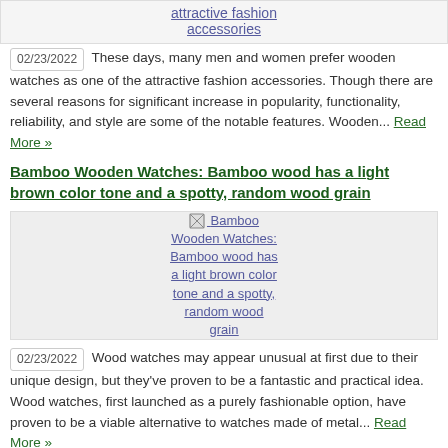attractive fashion accessories
02/23/2022 These days, many men and women prefer wooden watches as one of the attractive fashion accessories. Though there are several reasons for significant increase in popularity, functionality, reliability, and style are some of the notable features. Wooden... Read More »
Bamboo Wooden Watches: Bamboo wood has a light brown color tone and a spotty, random wood grain
[Figure (photo): Broken image placeholder for Bamboo Wooden Watches article with linked image text]
02/23/2022 Wood watches may appear unusual at first due to their unique design, but they've proven to be a fantastic and practical idea. Wood watches, first launched as a purely fashionable option, have proven to be a viable alternative to watches made of metal... Read More »
Wooden Watches are highly popular these days in 2022